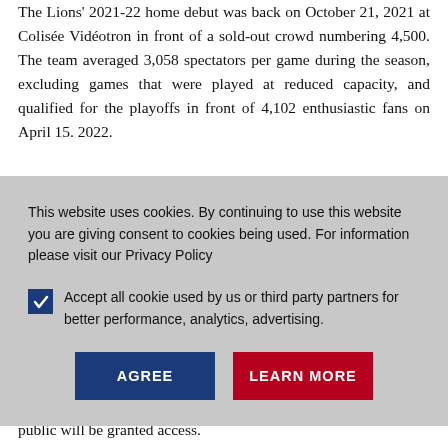The Lions' 2021-22 home debut was back on October 21, 2021 at Colisée Vidéotron in front of a sold-out crowd numbering 4,500. The team averaged 3,058 spectators per game during the season, excluding games that were played at reduced capacity, and qualified for the playoffs in front of 4,102 enthusiastic fans on April 15. 2022.
(The next text partially visible behind overlay)
[Figure (screenshot): Cookie consent dialog overlay with dark blue AGREE button and red LEARN MORE button. Contains checkbox for accepting cookies and text about privacy policy.]
public will be granted access.